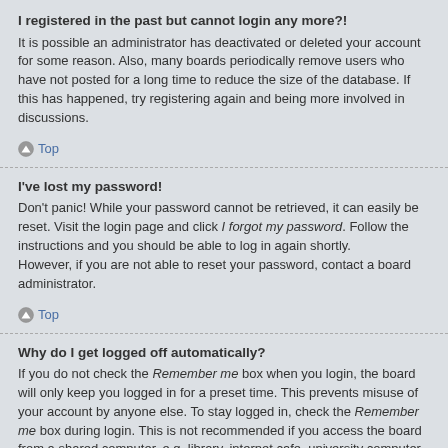I registered in the past but cannot login any more?!
It is possible an administrator has deactivated or deleted your account for some reason. Also, many boards periodically remove users who have not posted for a long time to reduce the size of the database. If this has happened, try registering again and being more involved in discussions.
Top
I've lost my password!
Don't panic! While your password cannot be retrieved, it can easily be reset. Visit the login page and click I forgot my password. Follow the instructions and you should be able to log in again shortly.
However, if you are not able to reset your password, contact a board administrator.
Top
Why do I get logged off automatically?
If you do not check the Remember me box when you login, the board will only keep you logged in for a preset time. This prevents misuse of your account by anyone else. To stay logged in, check the Remember me box during login. This is not recommended if you access the board from a shared computer, e.g. library, internet cafe, university computer lab, etc. If you do not see this checkbox, it means a board administrator has disabled this feature.